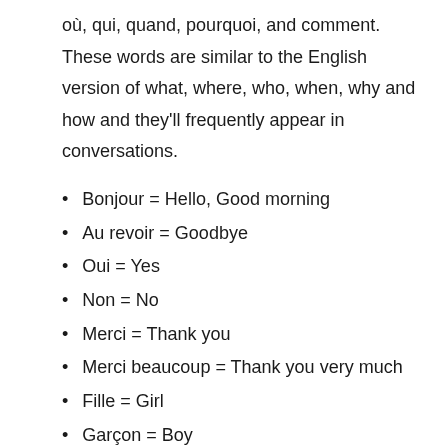où, qui, quand, pourquoi, and comment. These words are similar to the English version of what, where, who, when, why and how and they'll frequently appear in conversations.
Bonjour = Hello, Good morning
Au revoir = Goodbye
Oui = Yes
Non = No
Merci = Thank you
Merci beaucoup = Thank you very much
Fille = Girl
Garçon = Boy
Femme = Woman